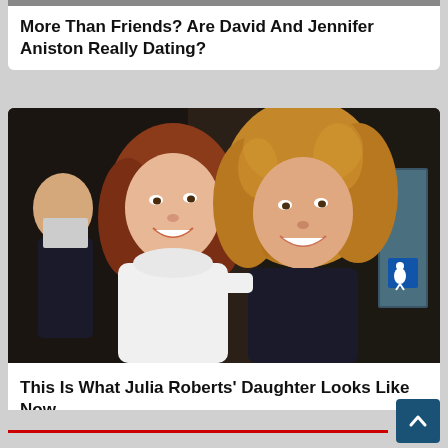More Than Friends? Are David And Jennifer Aniston Really Dating?
[Figure (photo): Photo of two women smiling together — one with auburn wavy hair in white outfit, one with curly blonde-brown hair in dark outfit, taken at what appears to be an indoor event]
This Is What Julia Roberts' Daughter Looks Like Now